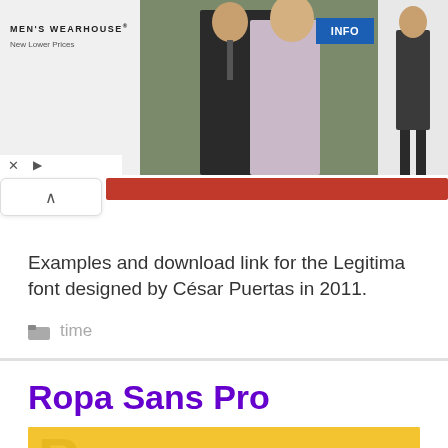[Figure (photo): Men's Wearhouse advertisement banner with a couple in wedding attire and a man in a suit, with an INFO button]
Examples and download link for the Legitima font designed by César Puertas in 2011.
time
Ropa Sans Pro
[Figure (photo): Yellow background with large font specimens]